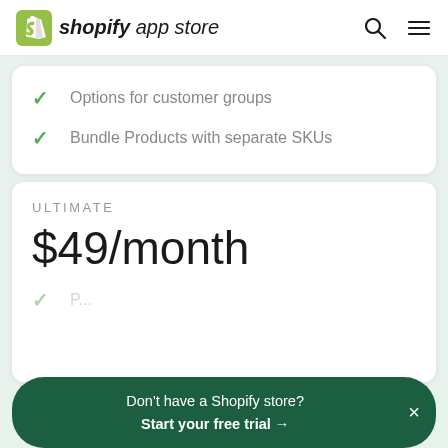shopify app store
Options for customer groups
Bundle Products with separate SKUs
ULTIMATE
$49/month
Don't have a Shopify store? Start your free trial →